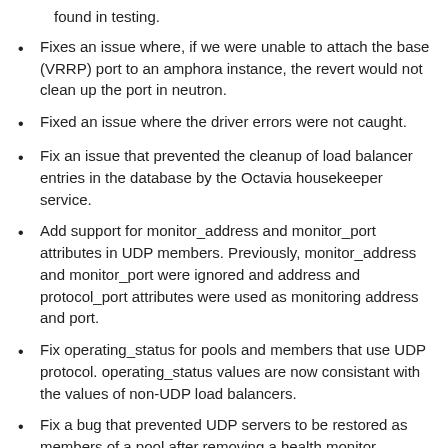found in testing.
Fixes an issue where, if we were unable to attach the base (VRRP) port to an amphora instance, the revert would not clean up the port in neutron.
Fixed an issue where the driver errors were not caught.
Fix an issue that prevented the cleanup of load balancer entries in the database by the Octavia housekeeper service.
Add support for monitor_address and monitor_port attributes in UDP members. Previously, monitor_address and monitor_port were ignored and address and protocol_port attributes were used as monitoring address and port.
Fix operating_status for pools and members that use UDP protocol. operating_status values are now consistant with the values of non-UDP load balancers.
Fix a bug that prevented UDP servers to be restored as members of a pool after removing a health monitor resource.
Fixed an issue with load balancers that have multiple listeners when using an amphora image that contains HAProxy 1.8 or newer. An updated amphora image is